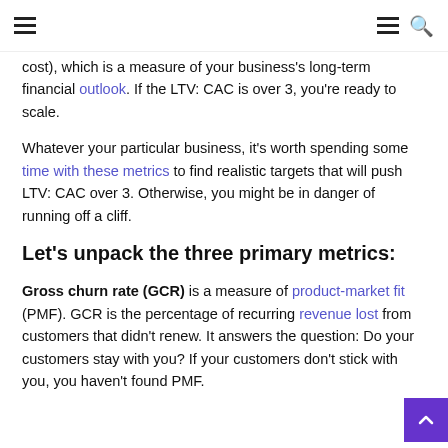≡  ≡ 🔍
cost), which is a measure of your business's long-term financial outlook. If the LTV: CAC is over 3, you're ready to scale.
Whatever your particular business, it's worth spending some time with these metrics to find realistic targets that will push LTV: CAC over 3. Otherwise, you might be in danger of running off a cliff.
Let's unpack the three primary metrics:
Gross churn rate (GCR) is a measure of product-market fit (PMF). GCR is the percentage of recurring revenue lost from customers that didn't renew. It answers the question: Do your customers stay with you? If your customers don't stick with you, you haven't found PMF.